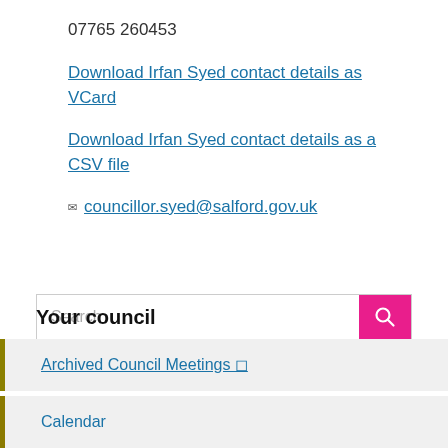07765 260453
Download Irfan Syed contact details as VCard
Download Irfan Syed contact details as a CSV file
councillor.syed@salford.gov.uk
Search
Your council
Archived Council Meetings
Calendar